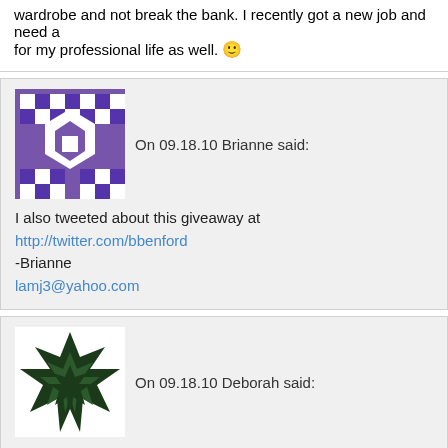wardrobe and not break the bank. I recently got a new job and need a for my professional life as well. 🙂
On 09.18.10 Brianne said:
I also tweeted about this giveaway at http://twitter.com/bbenford -Brianne lamj3@yahoo.com
On 09.18.10 Deborah said:
Something to help out my rather skimpy wardrobe would help me gre been trying to get a new job after being out of work due to downsizing